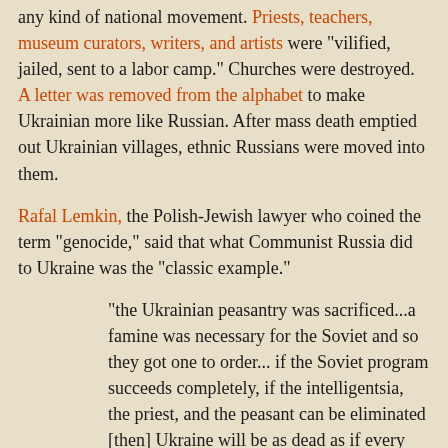any kind of national movement. Priests, teachers, museum curators, writers, and artists were "vilified, jailed, sent to a labor camp." Churches were destroyed. A letter was removed from the alphabet to make Ukrainian more like Russian. After mass death emptied out Ukrainian villages, ethnic Russians were moved into them.
Rafal Lemkin, the Polish-Jewish lawyer who coined the term "genocide," said that what Communist Russia did to Ukraine was the "classic example."
"the Ukrainian peasantry was sacrificed...a famine was necessary for the Soviet and so they got one to order... if the Soviet program succeeds completely, if the intelligentsia, the priest, and the peasant can be eliminated [then] Ukraine will be as dead as if every Ukrainian were killed, for it will have lost that part of it which has kept and developed its culture, its beliefs, its common ideas, which have guided it and given it a soul, which, in short, made it a nation... This is not simply a case of mass murder. It is a case of genocide, of the destruction, not of individuals only,